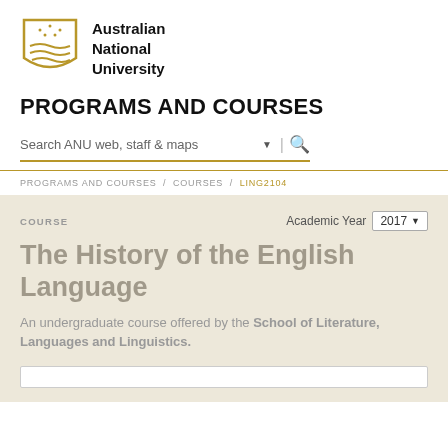[Figure (logo): Australian National University crest/shield logo in gold with waves and stars]
Australian National University
PROGRAMS AND COURSES
Search ANU web, staff & maps
PROGRAMS AND COURSES / COURSES / LING2104
COURSE
Academic Year 2017
The History of the English Language
An undergraduate course offered by the School of Literature, Languages and Linguistics.